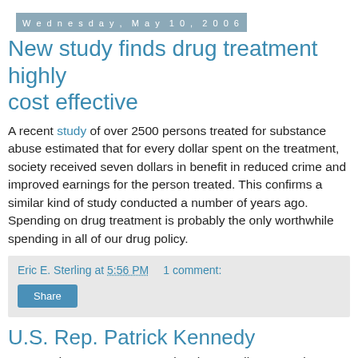Wednesday, May 10, 2006
New study finds drug treatment highly cost effective
A recent study of over 2500 persons treated for substance abuse estimated that for every dollar spent on the treatment, society received seven dollars in benefit in reduced crime and improved earnings for the person treated. This confirms a similar kind of study conducted a number of years ago. Spending on drug treatment is probably the only worthwhile spending in all of our drug policy.
Eric E. Sterling at 5:56 PM   1 comment:
Share
U.S. Rep. Patrick Kennedy
On Tuesday, May 2, representing the Standing Committee on Substance Abuse of the American Bar Association, I...